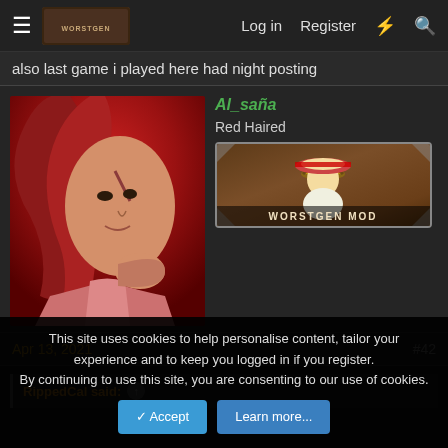Log in   Register
also last game i played here had night posting
Al_sana
Red Haired
WORSTGEN MOD
Apr 13, 2021   #42
RippedCal said:
This site uses cookies to help personalise content, tailor your experience and to keep you logged in if you register.
By continuing to use this site, you are consenting to our use of cookies.
Accept   Learn more...